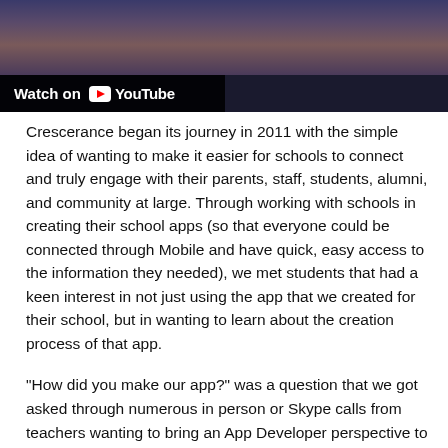[Figure (screenshot): YouTube video thumbnail with 'Watch on YouTube' bar overlay at the bottom left]
Crescerance began its journey in 2011 with the simple idea of wanting to make it easier for schools to connect and truly engage with their parents, staff, students, alumni, and community at large. Through working with schools in creating their school apps (so that everyone could be connected through Mobile and have quick, easy access to the information they needed), we met students that had a keen interest in not just using the app that we created for their school, but in wanting to learn about the creation process of that app.
"How did you make our app?" was a question that we got asked through numerous in person or Skype calls from teachers wanting to bring an App Developer perspective to their students. This is where MAD-learn was born. It was born from the curiosity of our students. From their quest to know more and absorb more. From our passion to feed that curiosity.
MAD stands for Mobile App Development and MAD-learn is a program that is teaching students how to be Creators of Technology, instead of just Consumers of it. To learn more about MAD-learn, watch this video. MAD-learn